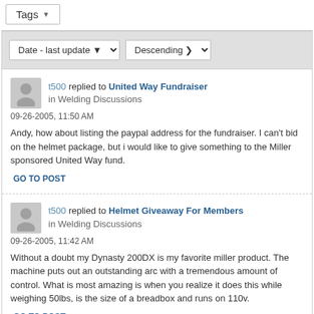Tags ▼
Date - last update ▼   Descending ▼
t500 replied to United Way Fundraiser in Welding Discussions
09-26-2005, 11:50 AM
Andy, how about listing the paypal address for the fundraiser. I can't bid on the helmet package, but i would like to give something to the Miller sponsored United Way fund.
GO TO POST
t500 replied to Helmet Giveaway For Members in Welding Discussions
09-26-2005, 11:42 AM
Without a doubt my Dynasty 200DX is my favorite miller product. The machine puts out an outstanding arc with a tremendous amount of control. What is most amazing is when you realize it does this while weighing 50lbs, is the size of a breadbox and runs on 110v.
GO TO POST